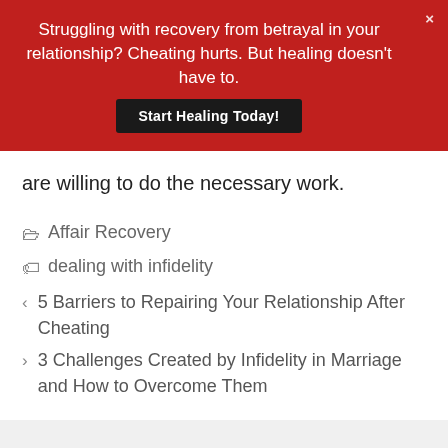[Figure (screenshot): Red promotional banner with white text and dark button]
are willing to do the necessary work.
Affair Recovery
dealing with infidelity
5 Barriers to Repairing Your Relationship After Cheating
3 Challenges Created by Infidelity in Marriage and How to Overcome Them